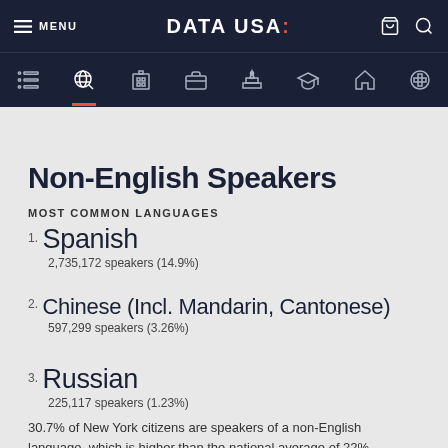MENU | DATA USA: | [cart] [search]
Non-English Speakers
MOST COMMON LANGUAGES
1. Spanish
2,735,172 speakers (14.9%)
2. Chinese (Incl. Mandarin, Cantonese)
597,299 speakers (3.26%)
3. Russian
225,117 speakers (1.23%)
30.7% of New York citizens are speakers of a non-English language, which is higher than the national average of 22%.